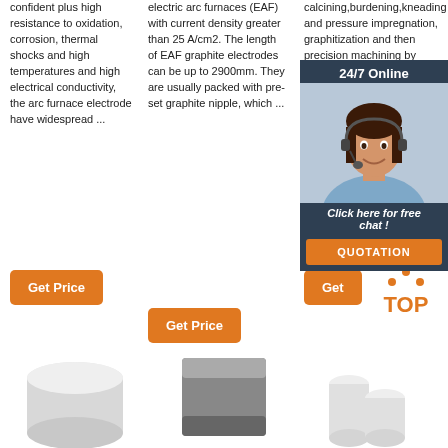confident plus high resistance to oxidation, corrosion, thermal shocks and high temperatures and high electrical conductivity, the arc furnace electrode have widespread ...
electric arc furnaces (EAF) with current density greater than 25 A/cm2. The length of EAF graphite electrodes can be up to 2900mm. They are usually packed with pre-set graphite nipple, which ...
calcining,burdening,kneading and pressure impregnation, graphitization and then precision machining by professional machining, the products are characterized with ...
Get Price
Get Price
Get
[Figure (infographic): 24/7 Online chat popup with agent photo, 'Click here for free chat!' text and QUOTATION button]
[Figure (photo): White/gray cylindrical graphite electrode block]
[Figure (photo): Dark gray rectangular graphite block]
[Figure (photo): White ceramic/graphite cylindrical tubes]
[Figure (logo): TOP badge with orange dots and orange TOP text]